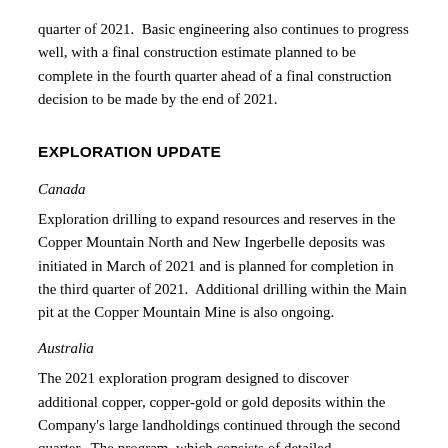quarter of 2021.  Basic engineering also continues to progress well, with a final construction estimate planned to be complete in the fourth quarter ahead of a final construction decision to be made by the end of 2021.
EXPLORATION UPDATE
Canada
Exploration drilling to expand resources and reserves in the Copper Mountain North and New Ingerbelle deposits was initiated in March of 2021 and is planned for completion in the third quarter of 2021.  Additional drilling within the Main pit at the Copper Mountain Mine is also ongoing.
Australia
The 2021 exploration program designed to discover additional copper, copper-gold or gold deposits within the Company's large landholdings continued through the second quarter.  The program, which consists of detailed